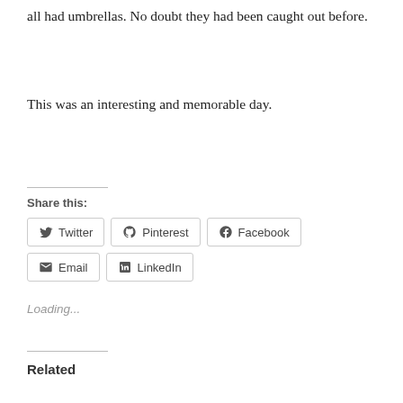all had umbrellas. No doubt they had been caught out before.
This was an interesting and memorable day.
Share this:
Twitter Pinterest Facebook Email LinkedIn
Loading...
Related